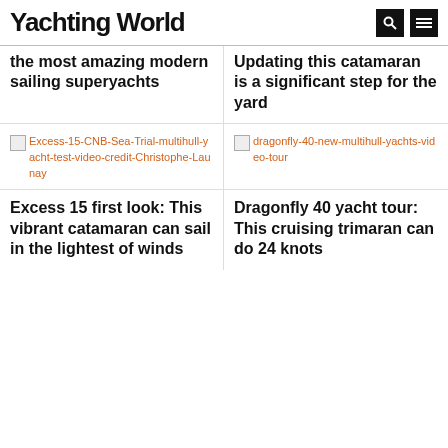Yachting World
the most amazing modern sailing superyachts
Updating this catamaran is a significant step for the yard
[Figure (photo): Broken image placeholder: Excess-15-CNB-Sea-Trial-multihull-yacht-test-video-credit-Christophe-Launay]
[Figure (photo): Broken image placeholder: dragonfly-40-new-multihull-yachts-video-tour]
Excess 15 first look: This vibrant catamaran can sail in the lightest of winds
Dragonfly 40 yacht tour: This cruising trimaran can do 24 knots